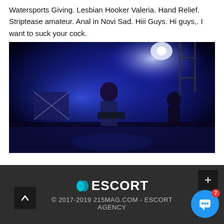Watersports Giving. Lesbian Hooker Valeria. Hand Relief. Striptease amateur. Anal in Novi Sad. Hiii Guys. Hi guys,. I want to suck your cock.
[Figure (photo): Concert photo showing a performer on stage with blue lighting, wearing a decorated jacket, with band equipment and scaffolding visible in the background.]
© 2017-2019 215MAG.COM - ESCORT AGENCY